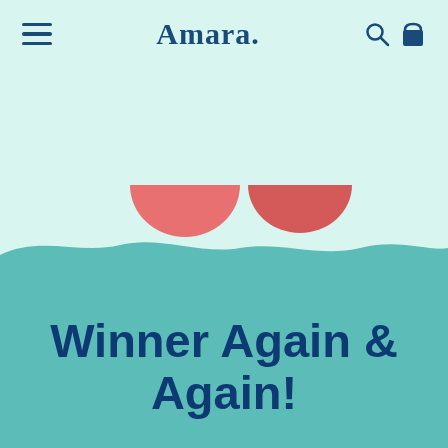[Figure (screenshot): Amara brand website screenshot showing navigation bar with hamburger menu, Amara logo, search and bag icons, two coral/salmon colored bowl shapes floating above a teal wave illustration, with bold text 'Winner Again & Again!' below]
Amara.
Winner Again & Again!